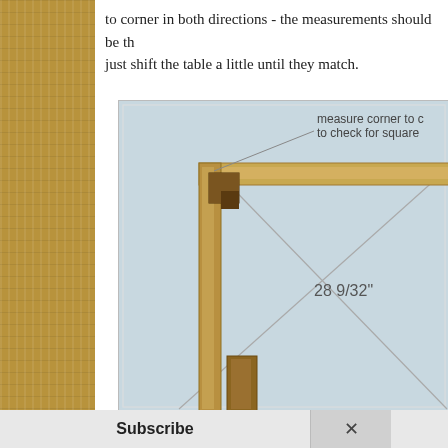to corner in both directions - the measurements should be th... just shift the table a little until they match.
[Figure (engineering-diagram): A woodworking diagram showing a table frame corner joint with diagonal measurement lines crossing from corner to corner. Labels indicate 'measure corner to corner to check for square' and a measurement of '28 9/32"'. The diagram shows wooden beams forming an L-shaped corner with a light blue background.]
Subscribe   ×